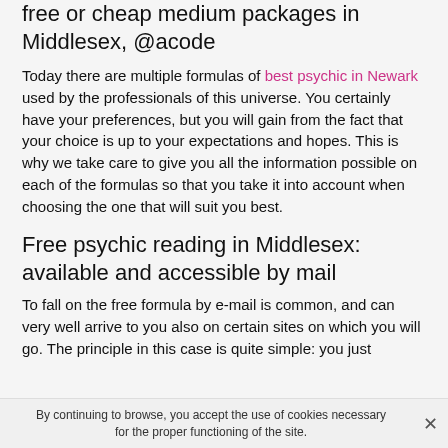free or cheap medium packages in Middlesex, @acode
Today there are multiple formulas of best psychic in Newark used by the professionals of this universe. You certainly have your preferences, but you will gain from the fact that your choice is up to your expectations and hopes. This is why we take care to give you all the information possible on each of the formulas so that you take it into account when choosing the one that will suit you best.
Free psychic reading in Middlesex: available and accessible by mail
To fall on the free formula by e-mail is common, and can very well arrive to you also on certain sites on which you will go. The principle in this case is quite simple: you just
By continuing to browse, you accept the use of cookies necessary for the proper functioning of the site.